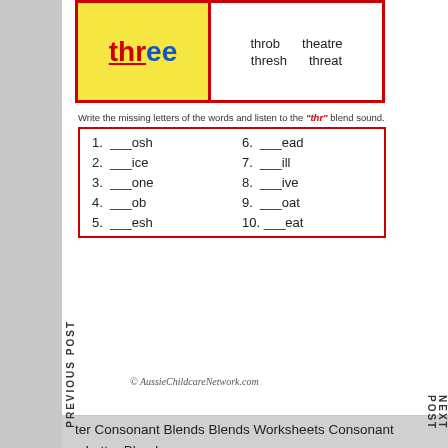[Figure (illustration): Red-bordered educational card showing 'three' with thr in red underlined and ee in blue, alongside words: throb, theatre, thresh, threat]
Write the missing letters of the words and listen to the "thr" blend sound.
1. ___osh    6. ___ead
2. ___ice    7. ___ill
3. ___one    8. ___ive
4. ___ob     9. ___oat
5. ___esh   10. ___eat
© AussieChildcareNetwork.com
PREVIOUS POST
NEXT POST
ter Consonant Blends Blends Worksheets Consonant s Letter Blends
Name: _________________________ Date: ____________________
Phonics
Blending
Direction: Say the sound. Connect and blend the proper sound of the picture.